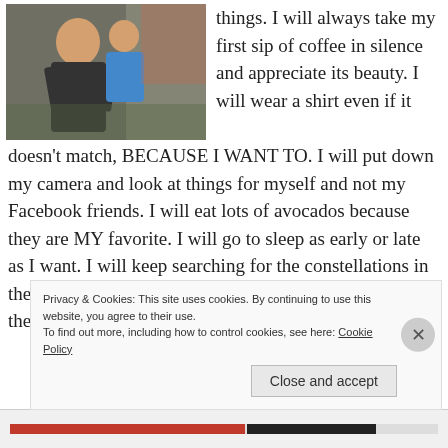[Figure (photo): Photo of a person in a black t-shirt holding a child in a blue dress, outdoor setting]
things. I will always take my first sip of coffee in silence and appreciate its beauty. I will wear a shirt even if it doesn't match, BECAUSE I WANT TO. I will put down my camera and look at things for myself and not my Facebook friends. I will eat lots of avocados because they are MY favorite. I will go to sleep as early or late as I want. I will keep searching for the constellations in the stars no matter where in the world I am. I will try all the
Privacy & Cookies: This site uses cookies. By continuing to use this website, you agree to their use.
To find out more, including how to control cookies, see here: Cookie Policy

Close and accept